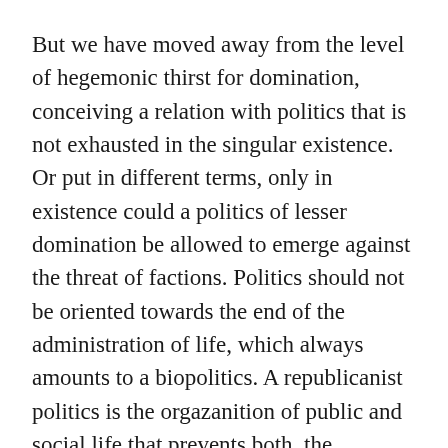But we have moved away from the level of hegemonic thirst for domination, conceiving a relation with politics that is not exhausted in the singular existence. Or put in different terms, only in existence could a politics of lesser domination be allowed to emerge against the threat of factions. Politics should not be oriented towards the end of the administration of life, which always amounts to a biopolitics. A republicanist politics is the orgazanition of public and social life that prevents both, the intensification and nullification of life in the polis.